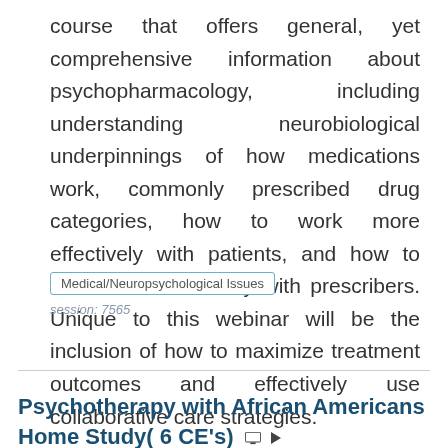course that offers general, yet comprehensive information about psychopharmacology, including understanding neurobiological underpinnings of how medications work, commonly prescribed drug categories, how to work more effectively with patients, and how to work more effectively with prescribers. Unique to this webinar will be the inclusion of how to maximize treatment outcomes and effectively use collaborative care strategies.
Medical/Neuropsychological Issues
session: 7565
Psychotherapy with African Americans Home Study( 6 CE's)